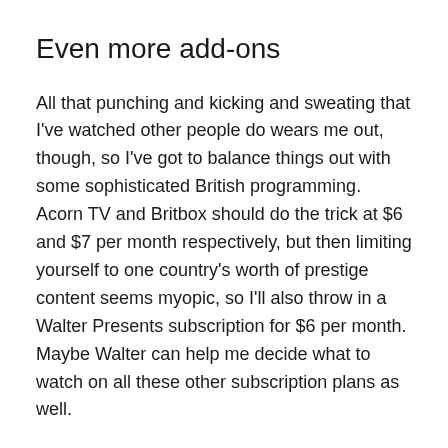Even more add-ons
All that punching and kicking and sweating that I've watched other people do wears me out, though, so I've got to balance things out with some sophisticated British programming. Acorn TV and Britbox should do the trick at $6 and $7 per month respectively, but then limiting yourself to one country's worth of prestige content seems myopic, so I'll also throw in a Walter Presents subscription for $6 per month. Maybe Walter can help me decide what to watch on all these other subscription plans as well.
After paying for all these options, not supporting public broadcasting seems selfish, so put me down for a $5 per month PBS Passport subscription. I